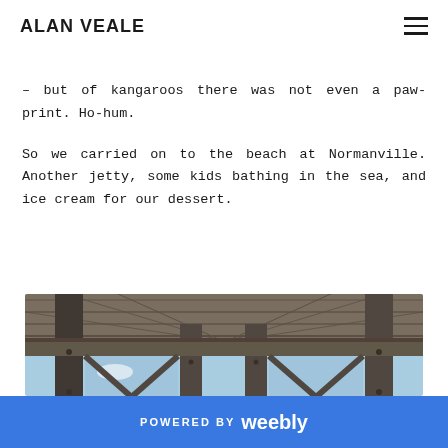ALAN VEALE
– but of kangaroos there was not even a paw-print. Ho-hum.
So we carried on to the beach at Normanville. Another jetty, some kids bathing in the sea, and ice cream for our dessert.
[Figure (photo): View looking up at the underside of a wooden jetty/pier structure against a blue sky with calm water visible in the background]
POWERED BY weebly